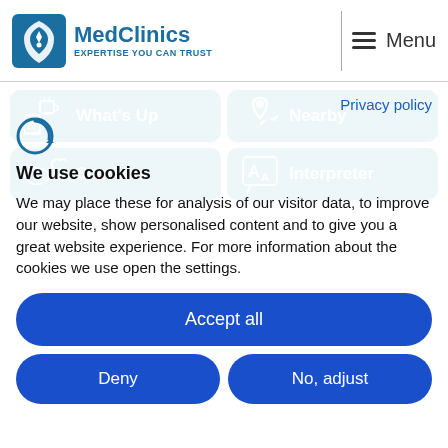[Figure (logo): MedClinics logo with teal shield icon and text 'EXPERTISE YOU CAN TRUST']
Menu
[Figure (infographic): Navigation buttons: What's Up, Nearby, Sections, Interpreter — teal rounded rectangles with white icons and bold text]
Privacy policy
[Figure (logo): Cookie consent icon — circular C with arrow]
We use cookies
We may place these for analysis of our visitor data, to improve our website, show personalised content and to give you a great website experience. For more information about the cookies we use open the settings.
Accept all
Deny
No, adjust